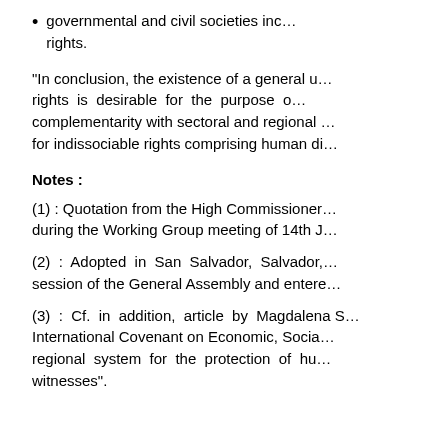governmental and civil societies inc... rights.
“In conclusion, the existence of a general u... rights is desirable for the purpose o... complementarity with sectoral and regional ... for indissociable rights comprising human di...
Notes :
(1) : Quotation from the High Commissioner... during the Working Group meeting of 14th J...
(2) : Adopted in San Salvador, Salvador,... session of the General Assembly and entere...
(3) : Cf. in addition, article by Magdalena S... International Covenant on Economic, Socia... regional system for the protection of hu... witnesses”.